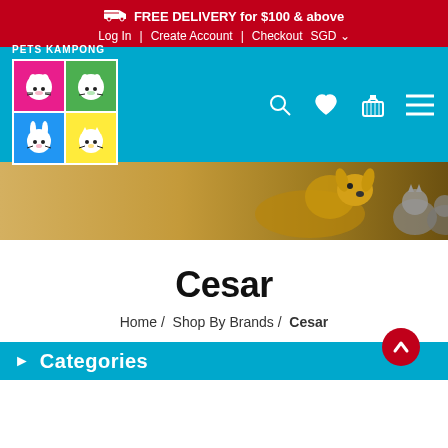FREE DELIVERY for $100 & above
Log In | Create Account | Checkout SGD
[Figure (logo): Pets Kampong logo with four colored squares containing cartoon pet faces (dog, dog, rabbit, cat)]
[Figure (photo): Hero image showing a golden retriever dog and cats on a warm brown background]
Cesar
Home / Shop By Brands / Cesar
Categories